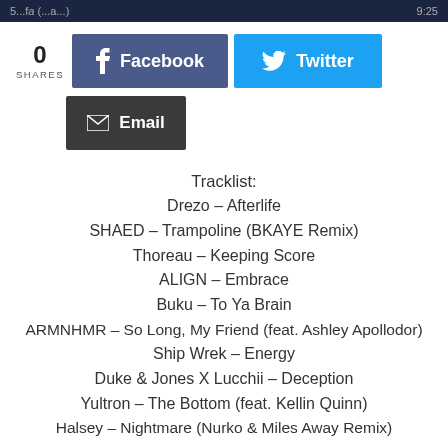5...fa (...a...) | 9:25
[Figure (infographic): Social share buttons: 0 SHARES count, Facebook button (dark blue), Twitter button (cyan blue), Email button (dark gray)]
Tracklist:
Drezo – Afterlife
SHAED – Trampoline (BKAYE Remix)
Thoreau – Keeping Score
ALIGN – Embrace
Buku – To Ya Brain
ARMNHMR – So Long, My Friend (feat. Ashley Apollodor)
Ship Wrek – Energy
Duke & Jones X Lucchii – Deception
Yultron – The Bottom (feat. Kellin Quinn)
Halsey – Nightmare (Nurko & Miles Away Remix)